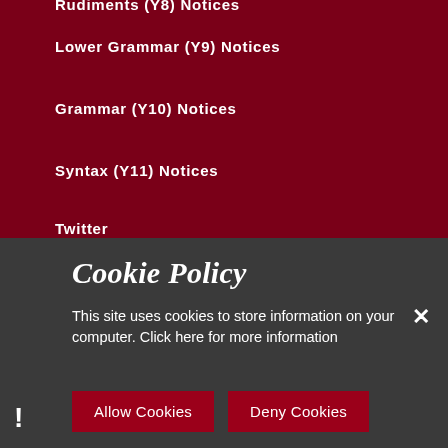Rudiments (Y8) Notices
Lower Grammar (Y9) Notices
Grammar (Y10) Notices
Syntax (Y11) Notices
Twitter
Term Dates 2021-22
Term Dates 2022-23
Cookie Policy
This site uses cookies to store information on your computer. Click here for more information
Allow Cookies
Deny Cookies